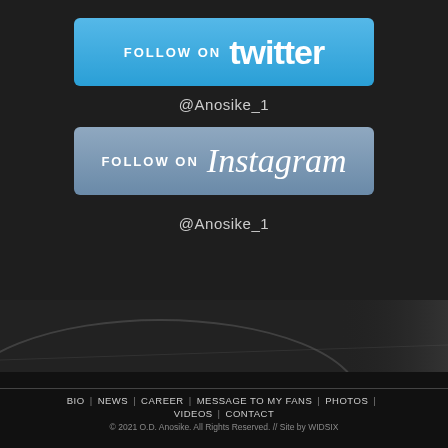[Figure (other): Twitter follow button — cyan/blue gradient rectangle with text 'FOLLOW ON twitter']
@Anosike_1
[Figure (other): Instagram follow button — steel-blue gradient rectangle with text 'FOLLOW ON Instagram']
@Anosike_1
[Figure (photo): Dark greyscale banner photo of a road/court surface with a curved line]
BIO | NEWS | CAREER | MESSAGE TO MY FANS | PHOTOS | VIDEOS | CONTACT
© 2021 O.D. Anosike. All Rights Reserved. // Site by WIDSIX